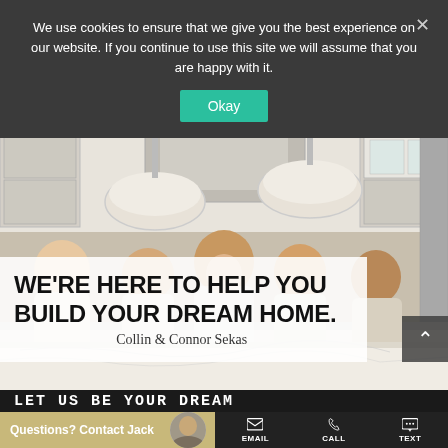We use cookies to ensure that we give you the best experience on our website. If you continue to use this site we will assume that you are happy with it.
Okay
[Figure (photo): Group of people (team members) standing in a luxury kitchen with white cabinets and hanging pendant lights]
WE'RE HERE TO HELP YOU BUILD YOUR DREAM HOME.
Collin & Connor Sekas
LET US BE YOUR DREAM
Questions? Contact Jack
EMAIL
CALL
TEXT